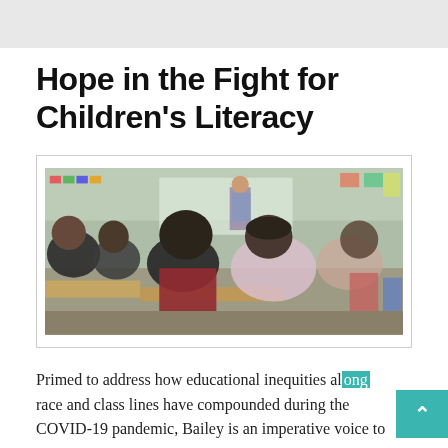Hope in the Fight for Children's Literacy
[Figure (photo): Classroom scene showing students seated at desks viewed from behind, with a teacher standing at the front of the room. The classroom has a light green wall, colorful displays, and backpacks visible.]
Primed to address how educational inequities along race and class lines have compounded during the COVID-19 pandemic, Bailey is an imperative voice to